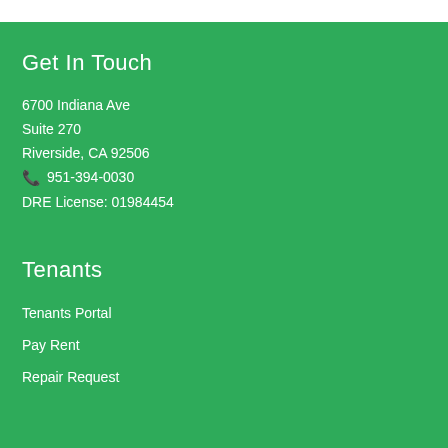Get In Touch
6700 Indiana Ave
Suite 270
Riverside, CA 92506
📞 951-394-0030
DRE License: 01984454
Tenants
Tenants Portal
Pay Rent
Repair Request